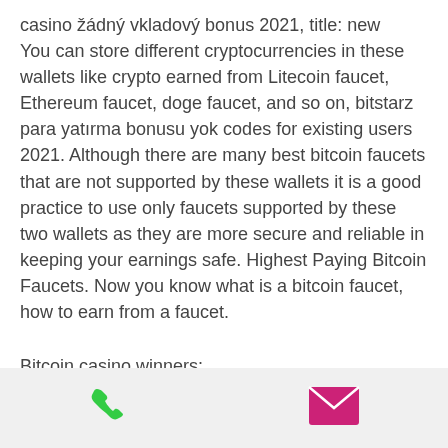casino žádný vkladový bonus 2021, title: new
You can store different cryptocurrencies in these wallets like crypto earned from Litecoin faucet, Ethereum faucet, doge faucet, and so on, bitstarz para yatırma bonusu yok codes for existing users 2021. Although there are many best bitcoin faucets that are not supported by these wallets it is a good practice to use only faucets supported by these two wallets as they are more secure and reliable in keeping your earnings safe. Highest Paying Bitcoin Faucets. Now you know what is a bitcoin faucet, how to earn from a faucet.
Bitcoin casino winners:
Genie's Luck - 401.5 dog
Viking Fire - 158.9 bch
[Figure (other): Footer bar with a green phone icon on the left and a magenta/pink email envelope icon on the right]